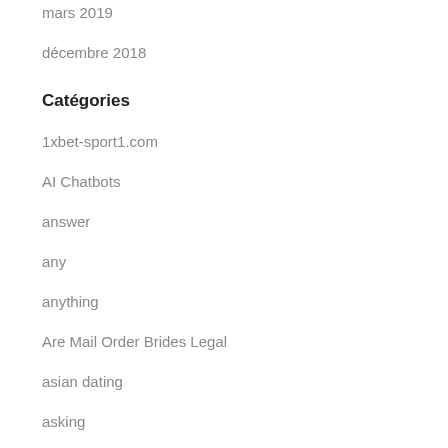mars 2019
décembre 2018
Catégories
1xbet-sport1.com
AI Chatbots
answer
any
anything
Are Mail Order Brides Legal
asian dating
asking
Bahis
Bahis Siteleri